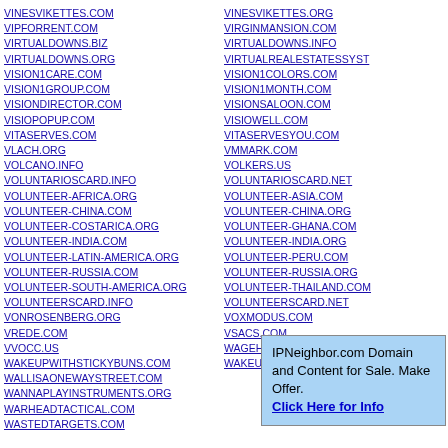VINESVIKETTES.COM
VIPFORRENT.COM
VIRTUALDOWNS.BIZ
VIRTUALDOWNS.ORG
VISION1CARE.COM
VISION1GROUP.COM
VISIONDIRECTOR.COM
VISIOPOPUP.COM
VITASERVES.COM
VLACH.ORG
VOLCANO.INFO
VOLUNTARIOSCARD.INFO
VOLUNTEER-AFRICA.ORG
VOLUNTEER-CHINA.COM
VOLUNTEER-COSTARICA.ORG
VOLUNTEER-INDIA.COM
VOLUNTEER-LATIN-AMERICA.ORG
VOLUNTEER-RUSSIA.COM
VOLUNTEER-SOUTH-AMERICA.ORG
VOLUNTEERSCARD.INFO
VONROSENBERG.ORG
VREDE.COM
VVOCC.US
WAKEUPWITHSTICKYBUNS.COM
WALLISAONEWAYSTREET.COM
WANNAPLAYINSTRUMENTS.ORG
WARHEADTACTICAL.COM
WASTEDTARGETS.COM
VINESVIKETTES.ORG
VIRGINMANSION.COM
VIRTUALDOWNS.INFO
VIRTUALREALESTATESSYST...
VISION1COLORS.COM
VISION1MONTH.COM
VISIONSALOON.COM
VISIOWELL.COM
VITASERVESYOU.COM
VMMARK.COM
VOLKERS.US
VOLUNTARIOSCARD.NET
VOLUNTEER-ASIA.COM
VOLUNTEER-CHINA.ORG
VOLUNTEER-GHANA.COM
VOLUNTEER-INDIA.ORG
VOLUNTEER-PERU.COM
VOLUNTEER-RUSSIA.ORG
VOLUNTEER-THAILAND.COM
VOLUNTEERSCARD.NET
VOXMODUS.COM
VSACS.COM
WAGEHOFT.COM
WAKEUPWITHSTICKYBUNS.N...
IPNeighbor.com Domain and Content for Sale. Make Offer. Click Here for Info